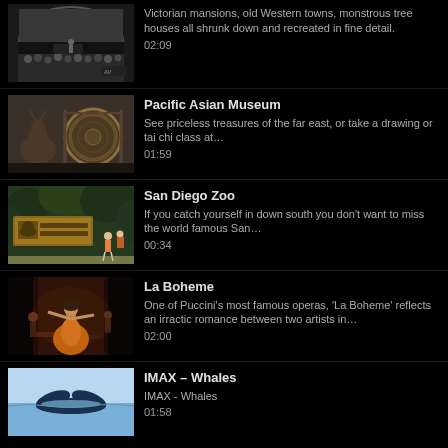Victorian mansions, old Western towns, monstrous tree houses all shrunk down and recreated in fine detail. 02:09
Pacific Asian Museum - See priceless treasures of the far east, or take a drawing or tai chi class at… 01:59
San Diego Zoo - If you catch yourself in down south you don't want to miss the world famous San… 00:34
La Boheme - One of Puccini's most famous operas, 'La Boheme' reflects an irractic romance between two artists in… 02:00
IMAX – Whales - IMAX - Whales 01:58